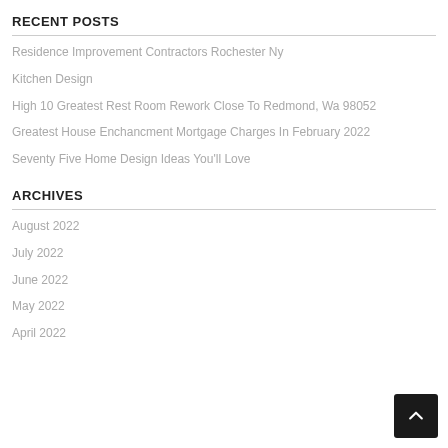RECENT POSTS
Residence Improvement Contractors Rochester Ny
Kitchen Design
High 10 Greatest Rest Room Rework Close To Redmond, Wa 98052
Greatest House Enchancment Mortgage Charges In February 2022
Seventy Five Home Design Ideas You'll Love
ARCHIVES
August 2022
July 2022
June 2022
May 2022
April 2022